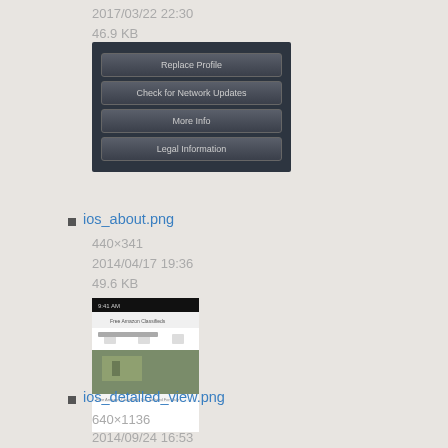2017/03/22 22:30
46.9 KB
[Figure (screenshot): iOS About screen with buttons: Replace Profile, Check for Network Updates, More Info, Legal Information]
ios_about.png
440×341
2014/04/17 19:36
49.6 KB
[Figure (screenshot): iOS detailed view screenshot showing a property listing with a photo of a house]
ios_detailed_view.png
640×1136
2014/09/24 16:53
298.7 KB
[Figure (screenshot): iOS screen showing upcoming occurrences list]